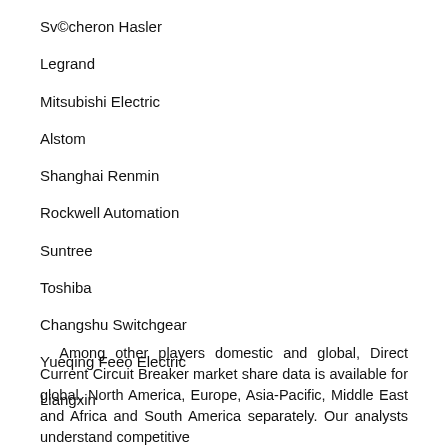Sv©cheron Hasler
Legrand
Mitsubishi Electric
Alstom
Shanghai Renmin
Rockwell Automation
Suntree
Toshiba
Changshu Switchgear
Yueqing Feeo Electric
Liangxin
Among other players domestic and global, Direct Current Circuit Breaker market share data is available for global, North America, Europe, Asia-Pacific, Middle East and Africa and South America separately. Our analysts understand competitive